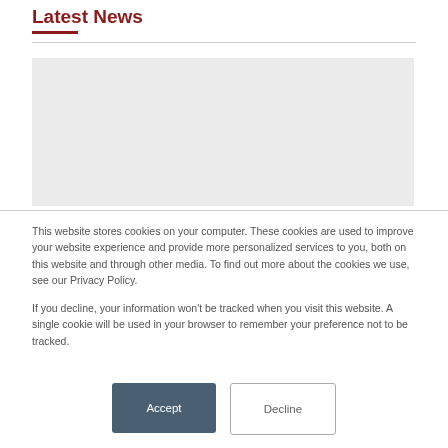Latest News
[Figure (other): Gray placeholder image block below Latest News header]
This website stores cookies on your computer. These cookies are used to improve your website experience and provide more personalized services to you, both on this website and through other media. To find out more about the cookies we use, see our Privacy Policy.
If you decline, your information won’t be tracked when you visit this website. A single cookie will be used in your browser to remember your preference not to be tracked.